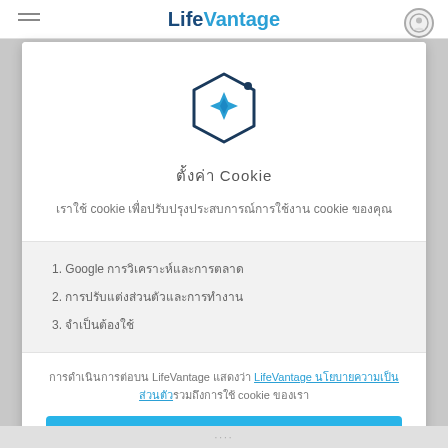LifeVantage
[Figure (logo): LifeVantage hexagon icon with blue plus/diamond shape inside, dark navy outline, small dot on upper right of hexagon]
ตั้งค่า Cookie
เราใช้ cookie เพื่อปรับปรุงประสบการณ์การใช้งาน cookie ของคุณ
1. Google การวิเคราะห์และการตลาด
2. การปรับแต่งส่วนตัวและการทำงาน
3. จำเป็นต้องใช้
การดำเนินการต่อบน LifeVantage แสดงว่า LifeVantage นโยบายความเป็นส่วนตัวรวมถึงการใช้ cookie ของเรา
ยอมรับ